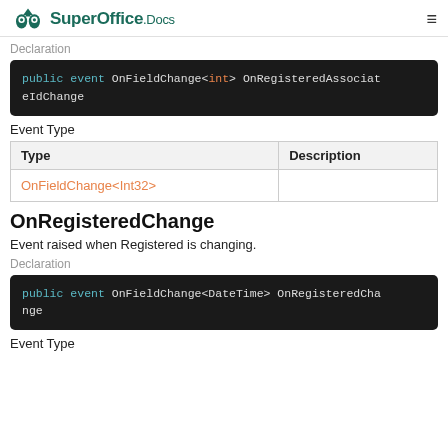SuperOffice.Docs
Declaration
public event OnFieldChange<int> OnRegisteredAssociateIdChange
Event Type
| Type | Description |
| --- | --- |
| OnFieldChange<Int32> |  |
OnRegisteredChange
Event raised when Registered is changing.
Declaration
public event OnFieldChange<DateTime> OnRegisteredChange
Event Type